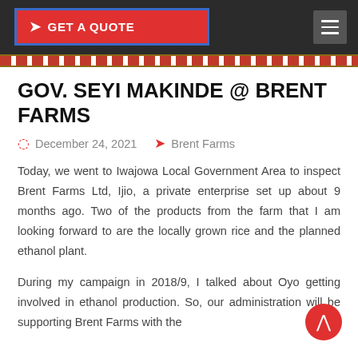GET A QUOTE
GOV. SEYI MAKINDE @ BRENT FARMS
December 24, 2021   Brent Farms
Today, we went to Iwajowa Local Government Area to inspect Brent Farms Ltd, Ijio, a private enterprise set up about 9 months ago. Two of the products from the farm that I am looking forward to are the locally grown rice and the planned ethanol plant.
During my campaign in 2018/9, I talked about Oyo getting involved in ethanol production. So, our administration will be supporting Brent Farms with the